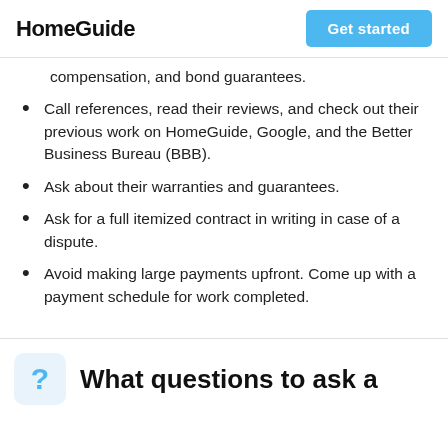HomeGuide | Get started
compensation, and bond guarantees.
Call references, read their reviews, and check out their previous work on HomeGuide, Google, and the Better Business Bureau (BBB).
Ask about their warranties and guarantees.
Ask for a full itemized contract in writing in case of a dispute.
Avoid making large payments upfront. Come up with a payment schedule for work completed.
What questions to ask a